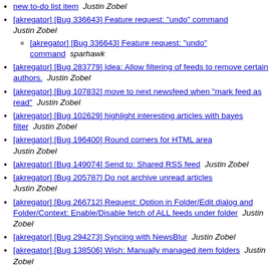[akregator] [Bug 336643] Feature request: "undo" command  Justin Zobel
[akregator] [Bug 336643] Feature request: "undo" command  sparhawk
[akregator] [Bug 283779] Idea: Allow filtering of feeds to remove certain authors.  Justin Zobel
[akregator] [Bug 107832] move to next newsfeed when "mark feed as read"  Justin Zobel
[akregator] [Bug 102629] highlight interesting articles with bayes filter  Justin Zobel
[akregator] [Bug 196400] Round corners for HTML area  Justin Zobel
[akregator] [Bug 149074] Send to: Shared RSS feed  Justin Zobel
[akregator] [Bug 205787] Do not archive unread articles  Justin Zobel
[akregator] [Bug 266712] Request: Option in Folder/Edit dialog and Folder/Context: Enable/Disable fetch of ALL feeds under folder  Justin Zobel
[akregator] [Bug 294273] Syncing with NewsBlur  Justin Zobel
[akregator] [Bug 138506] Wish: Manually managed item folders  Justin Zobel
[akregator] [Bug 138506] Wish: Manually managed item folders